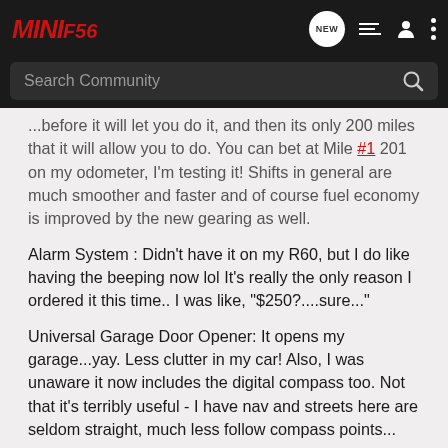MINIF56
...before it will let you do it, and then its only 200 miles that it will allow you to do. You can bet at Mile #1 201 on my odometer, I'm testing it! Shifts in general are much smoother and faster and of course fuel economy is improved by the new gearing as well.
Alarm System : Didn't have it on my R60, but I do like having the beeping now lol It's really the only reason I ordered it this time.. I was like, "$250?....sure..."
Universal Garage Door Opener: It opens my garage...yay. Less clutter in my car! Also, I was unaware it now includes the digital compass too. Not that it's terribly useful - I have nav and streets here are seldom straight, much less follow compass points...
Auto Dimming Rearview Mirror : I'm lazy - if I had to twist that